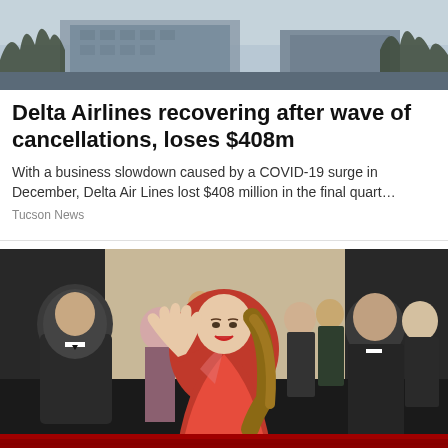[Figure (photo): Aerial or distant photo of a building exterior with bare trees, gray wintry sky]
Delta Airlines recovering after wave of cancellations, loses $408m
With a business slowdown caused by a COVID-19 surge in December, Delta Air Lines lost $408 million in the final quart…
Tucson News
[Figure (photo): Woman in red off-shoulder dress waving on a red carpet, surrounded by crowd in formal black attire]